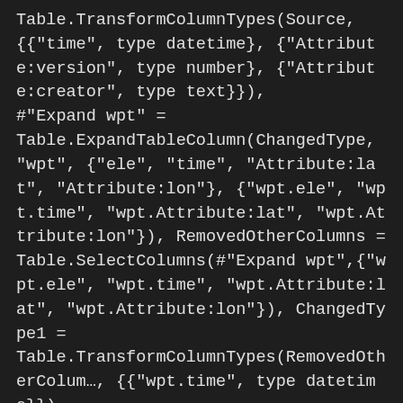Table.TransformColumnTypes(Source,{{"time", type datetime}, {"Attribute:version", type number}, {"Attribute:creator", type text}}),
#"Expand wpt" =
Table.ExpandTableColumn(ChangedType, "wpt", {"ele", "time", "Attribute:lat", "Attribute:lon"}, {"wpt.ele", "wpt.time", "wpt.Attribute:lat", "wpt.Attribute:lon"}), RemovedOtherColumns =
Table.SelectColumns(#"Expand wpt",{"wpt.ele", "wpt.time", "wpt.Attribute:lat", "wpt.Attribute:lon"}), ChangedType1 =
Table.TransformColumnTypes(RemovedOtherColumns, {{"wpt.time", type datetime}}),
ChangedTypeWithLocale =
Table.TransformColumnTypes(ChangedType1, {{"wpt.ele", type number}, {"wpt.Attribute:lat", type number}, {"wpt.Attribute:lon", type